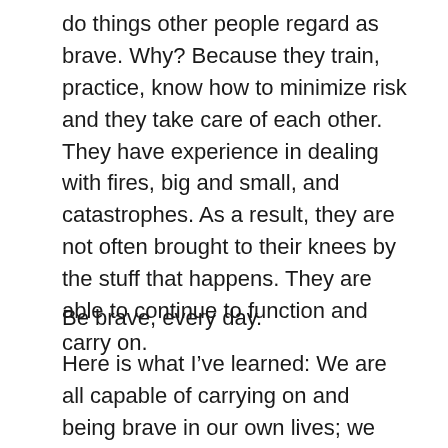do things other people regard as brave. Why? Because they train, practice, know how to minimize risk and they take care of each other. They have experience in dealing with fires, big and small, and catastrophes. As a result, they are not often brought to their knees by the stuff that happens. They are able to continue to function and carry on.
Be brave, every day.
Here is what I've learned: We are all capable of carrying on and being brave in our own lives; we have the opportunity to train and to work at being braver every day.